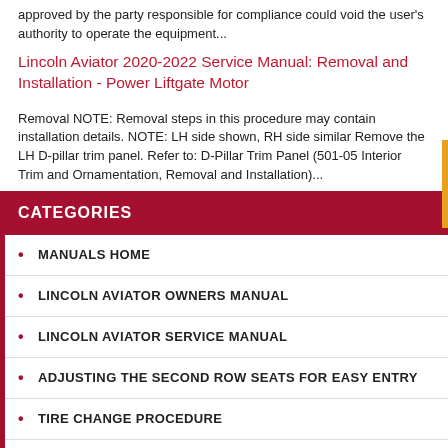approved by the party responsible for compliance could void the user's authority to operate the equipment...
Lincoln Aviator 2020-2022 Service Manual: Removal and Installation - Power Liftgate Motor
Removal NOTE: Removal steps in this procedure may contain installation details. NOTE: LH side shown, RH side similar Remove the LH D-pillar trim panel. Refer to: D-Pillar Trim Panel (501-05 Interior Trim and Ornamentation, Removal and Installation)...
CATEGORIES
MANUALS HOME
LINCOLN AVIATOR OWNERS MANUAL
LINCOLN AVIATOR SERVICE MANUAL
ADJUSTING THE SECOND ROW SEATS FOR EASY ENTRY
TIRE CHANGE PROCEDURE
LOCKING AND UNLOCKING